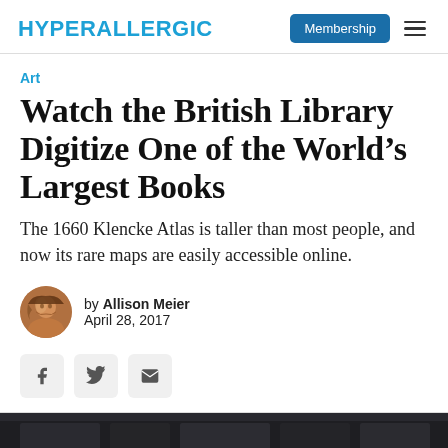HYPERALLERGIC | Membership
Art
Watch the British Library Digitize One of the World's Largest Books
The 1660 Klencke Atlas is taller than most people, and now its rare maps are easily accessible online.
by Allison Meier
April 28, 2017
[Figure (other): Social sharing buttons: Facebook, Twitter, Email]
[Figure (photo): Bottom partial image strip showing a dark interior, likely the British Library]